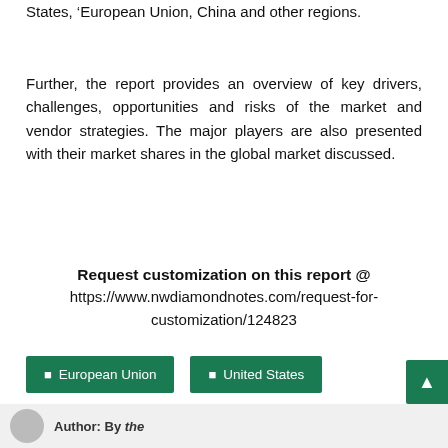States, 'European Union, China and other regions.
Further, the report provides an overview of key drivers, challenges, opportunities and risks of the market and vendor strategies. The major players are also presented with their market shares in the global market discussed.
Request customization on this report @ https://www.nwdiamondnotes.com/request-for-customization/124823
European Union
United States